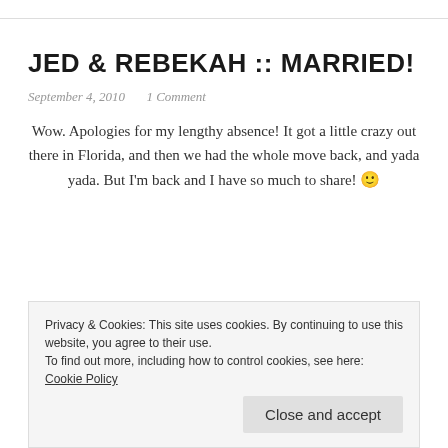JED & REBEKAH :: MARRIED!
September 4, 2010   1 Comment
Wow. Apologies for my lengthy absence! It got a little crazy out there in Florida, and then we had the whole move back, and yada yada. But I'm back and I have so much to share! 🙂
Privacy & Cookies: This site uses cookies. By continuing to use this website, you agree to their use. To find out more, including how to control cookies, see here: Cookie Policy
Close and accept